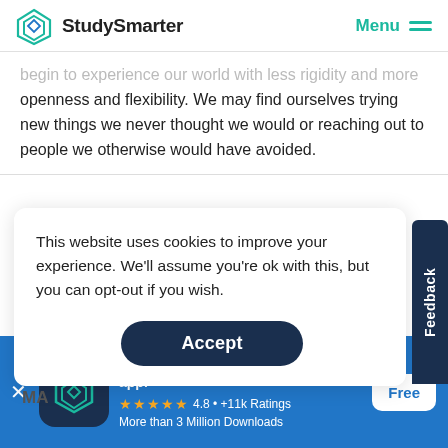StudySmarter  Menu
begin to experience our world with less rigidity and more openness and flexibility. We may find ourselves trying new things we never thought we would or reaching out to people we otherwise would have avoided.
This website uses cookies to improve your experience. We'll assume you're ok with this, but you can opt-out if you wish.
Accept
Feedback
MA
StudySmarter - The all-in-one study app.
★★★★★ 4.8 • +11k Ratings
More than 3 Million Downloads
Free